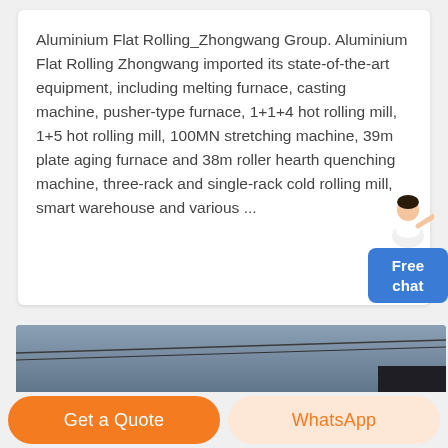Aluminium Flat Rolling_Zhongwang Group. Aluminium Flat Rolling Zhongwang imported its state-of-the-art equipment, including melting furnace, casting machine, pusher-type furnace, 1+1+4 hot rolling mill, 1+5 hot rolling mill, 100MN stretching machine, 39m plate aging furnace and 38m roller hearth quenching machine, three-rack and single-rack cold rolling mill, smart warehouse and various ...
[Figure (photo): Industrial/outdoor photo with dark sky and metallic surface, partially visible]
Get a Quote
WhatsApp